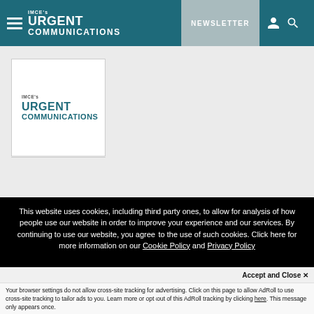IMCE's URGENT COMMUNICATIONS | NEWSLETTER
[Figure (logo): IMCE's Urgent Communications logo in a white bordered box]
This website uses cookies, including third party ones, to allow for analysis of how people use our website in order to improve your experience and our services. By continuing to use our website, you agree to the use of such cookies. Click here for more information on our Cookie Policy and Privacy Policy
Accept and Close ✕
Your browser settings do not allow cross-site tracking for advertising. Click on this page to allow AdRoll to use cross-site tracking to tailor ads to you. Learn more or opt out of this AdRoll tracking by clicking here. This message only appears once.